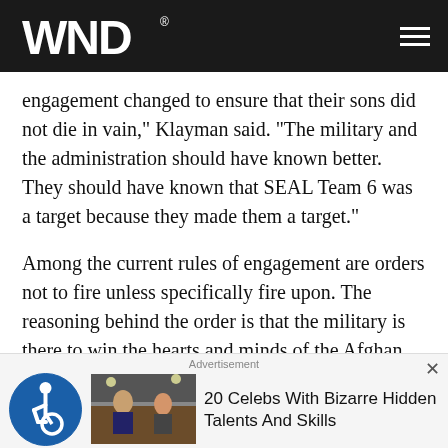WND
engagement changed to ensure that their sons did not die in vain," Klayman said. "The military and the administration should have known better. They should have known that SEAL Team 6 was a target because they made them a target."
Among the current rules of engagement are orders not to fire unless specifically fire upon. The reasoning behind the order is that the military is there to win the hearts and minds of the Afghan people.
The downing of the helicopter came just months after
[Figure (screenshot): Advertisement banner at bottom showing accessibility icon, TV show image, and text '20 Celebs With Bizarre Hidden Talents And Skills']